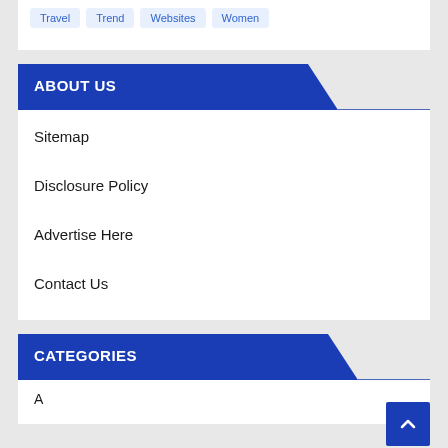Travel  Trend  Websites  Women
ABOUT US
Sitemap
Disclosure Policy
Advertise Here
Contact Us
CATEGORIES